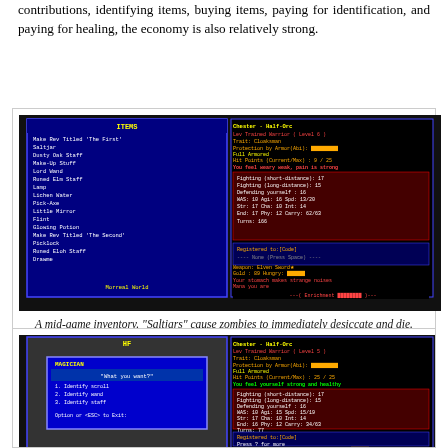contributions, identifying items, buying items, paying for identification, and paying for healing, the economy is also relatively strong.
[Figure (screenshot): A mid-game inventory screen from a retro RPG. Left panel shows an item list including 'Make Rev Titled The First', Saltjar, Dusty Oak Staff, Make-Up Stuff, Lord Wand, Runed Elm Staff, Lamp, Lichen Water, Pick-Axe, Little Mirror, Flint, Glowing Potion, Make Rev Titled The Second, Picklock, Runed Eloh Staff, Drawme. Right panel shows character stats for Chester the Half-Orc, Lev Trained Warrior Level 6, Trait Cloaksman, with HP 9/25, various combat stats, inventory and gold info.]
A mid-game inventory. "Saltjars" cause zombies to immediately desiccate and die. "Make-up stuff" increases the charisma of NPCs. Why?!?
[Figure (screenshot): A mid-game screen showing a magician NPC dialog box saying 'What you want?' with options: 1. Identify scroll, 2. Identify wand, 3. Identify staff, and 'Option or <ESC> to Exit:'. Right panel shows Chester Half-Orc stats, Lev Trained Warrior Level 5, HP 25/25, feeling strong and healthy, with combat and inventory stats.]